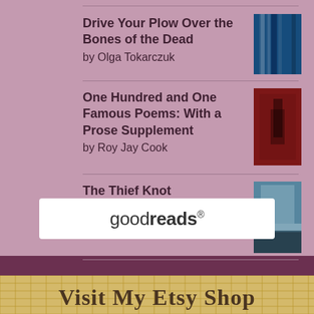Drive Your Plow Over the Bones of the Dead by Olga Tokarczuk
One Hundred and One Famous Poems: With a Prose Supplement by Roy Jay Cook
The Thief Knot by Kate Milford
[Figure (logo): goodreads logo in white rounded rectangle]
Visit My Etsy Shop